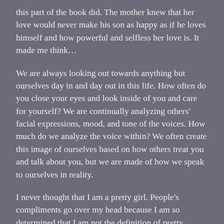this part of the book did. The mother knew that her love would never make his son as happy as if he loves himself and how powerful and selfless her love is. It made me think...
We are always looking out towards anything but ourselves day in and day out in this life. How often do you close your eyes and look inside of you and care for yourself? We are continually analyzing others' facial expressions, mood, and tone of the voices. How much do we analyze the voice within? We often create this image of ourselves based on how others treat you and talk about you, but we are made of how we speak to ourselves in reality.
I never thought that I am a pretty girl. People's compliments go over my head because I am so determined that I am not the definition of pretty.